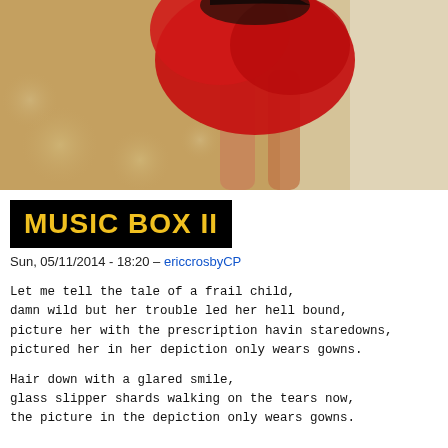[Figure (photo): A figure in a red flowing dress or fabric, shot from behind/side, with warm golden bokeh background. Bare legs visible below the red fabric.]
MUSIC BOX II
Sun, 05/11/2014 - 18:20 – ericcrosbyCP
Let me tell the tale of a frail child,
damn wild but her trouble led her hell bound,
picture her with the prescription havin staredowns,
pictured her in her depiction only wears gowns.
Hair down with a glared smile,
glass slipper shards walking on the tears now,
the picture in the depiction only wears gowns.